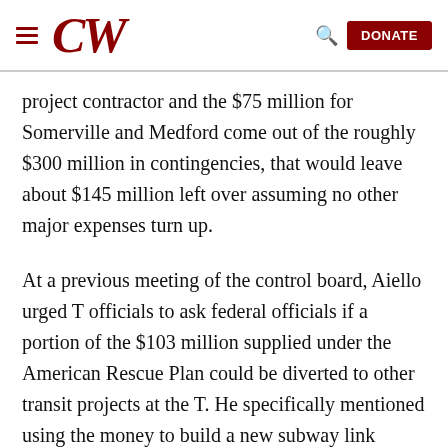CW [logo] | Search | DONATE
project contractor and the $75 million for Somerville and Medford come out of the roughly $300 million in contingencies, that would leave about $145 million left over assuming no other major expenses turn up.
At a previous meeting of the control board, Aiello urged T officials to ask federal officials if a portion of the $103 million supplied under the American Rescue Plan could be diverted to other transit projects at the T. He specifically mentioned using the money to build a new subway link connecting the Red and Blue Lines at the current Charles/MGH Red Line station.